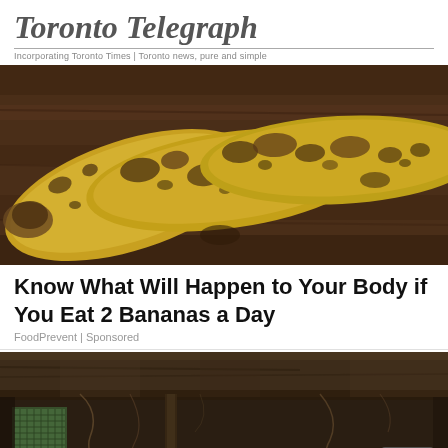Toronto Telegraph
Incorporating Toronto Times | Toronto news, pure and simple
[Figure (photo): Three overripe bananas with heavy brown/black spotting resting on a dark wooden surface]
Know What Will Happen to Your Body if You Eat 2 Bananas a Day
FoodPrevent | Sponsored
[Figure (photo): Dark underside of a structure showing wooden beams, debris, green mesh/screen, and pipes in a crawl space or basement area]